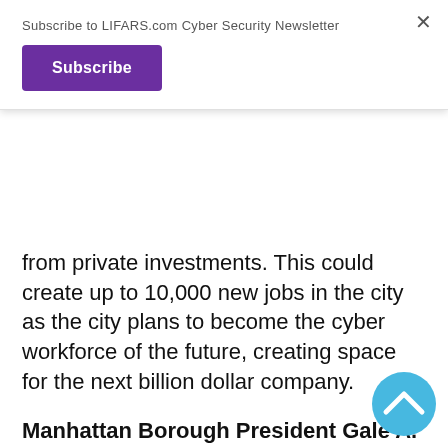Subscribe to LIFARS.com Cyber Security Newsletter
Subscribe
from private investments. This could create up to 10,000 new jobs in the city as the city plans to become the cyber workforce of the future, creating space for the next billion dollar company.
Manhattan Borough President Gale A. Brewer stated:
Cyber security has never been more important to the pillars of New York's economy — sectors like finance, healthcare,